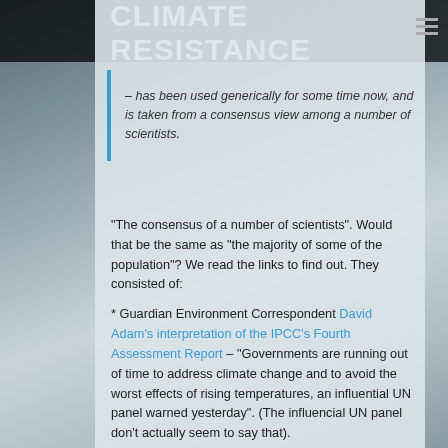CLIMATE RESISTANCE
– has been used generically for some time now, and is taken from a consensus view among a number of scientists.
“The consensus of a number of scientists”. Would that be the same as “the majority of some of the population”? We read the links to find out. They consisted of:
* Guardian Environment Correspondent David Adam’s interpretation of the IPCC’s Fourth Assessment Report – “Governments are running out of time to address climate change and to avoid the worst effects of rising temperatures, an influential UN panel warned yesterday”. (The influencial UN panel don’t actually seem to say that).
* A BBC Online article claiming that “The world may